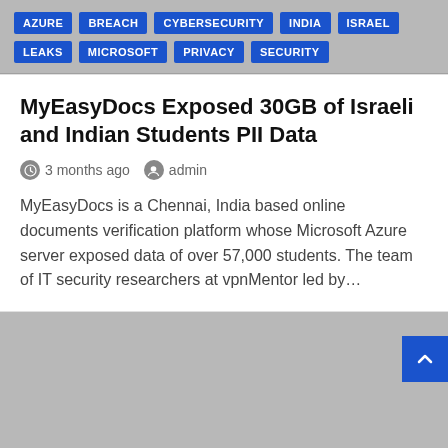AZURE BREACH CYBERSECURITY INDIA ISRAEL LEAKS MICROSOFT PRIVACY SECURITY
MyEasyDocs Exposed 30GB of Israeli and Indian Students PII Data
3 months ago  admin
MyEasyDocs is a Chennai, India based online documents verification platform whose Microsoft Azure server exposed data of over 57,000 students. The team of IT security researchers at vpnMentor led by…
[Figure (screenshot): Gray background area with a blue scroll-to-top button in the upper right corner containing an upward chevron/caret icon]